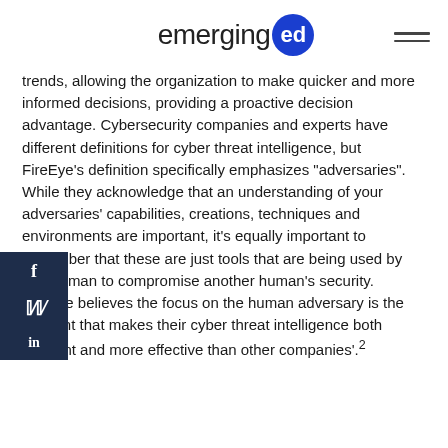emerging ed
trends, allowing the organization to make quicker and more informed decisions, providing a proactive decision advantage. Cybersecurity companies and experts have different definitions for cyber threat intelligence, but FireEye’s definition specifically emphasizes “adversaries”. While they acknowledge that an understanding of your adversaries’ capabilities, creations, techniques and environments are important, it’s equally important to remember that these are just tools that are being used by one human to compromise another human’s security. FireEye believes the focus on the human adversary is the element that makes their cyber threat intelligence both different and more effective than other companies’.2